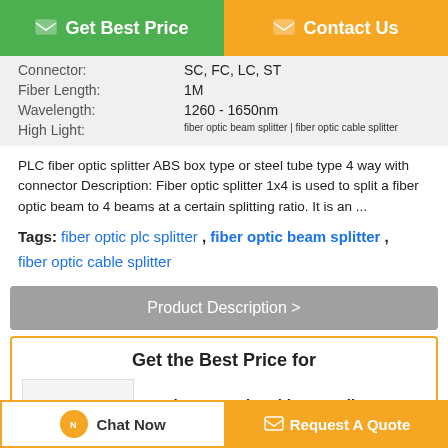[Figure (screenshot): Top navigation buttons: green 'Get Best Price' and orange 'Contact Us']
| Connector: | SC, FC, LC, ST |
| Fiber Length: | 1M |
| Wavelength: | 1260 - 1650nm |
| High Light: | fiber optic beam splitter | fiber optic cable splitter |
PLC fiber optic splitter ABS box type or steel tube type 4 way with connector Description: Fiber optic splitter 1x4 is used to split a fiber optic beam to 4 beams at a certain splitting ratio. It is an ...
Tags: fiber optic plc splitter , fiber optic beam splitter , fiber optic cable splitter
Product Description >
Get the Best Price for
Environmental Stable PLC Fiber Optic Splitter ...
[Figure (logo): CRXM company logo in blue]
[Figure (screenshot): Bottom buttons: Chat Now and Request A Quote]